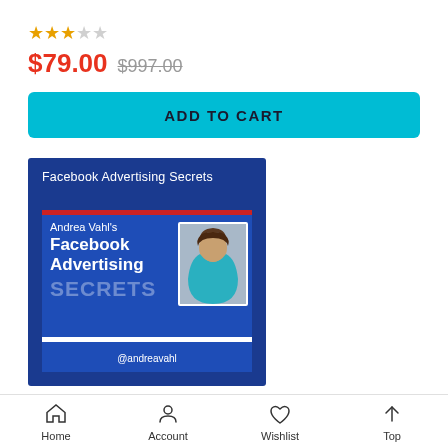★★★☆☆ (2.5 stars rating)
$79.00  $997.00
ADD TO CART
[Figure (illustration): Book cover for 'Facebook Advertising Secrets' by Andrea Vahl. Dark blue background with white title text at top. Inner panel shows 'Andrea Vahl's Facebook Advertising Secrets' text with a photo of a woman smiling, wearing a teal shirt. Large faded 'SECRETS' text at bottom. White bar separator. '@andreavahl' handle at bottom.]
Home  Account  Wishlist  Top